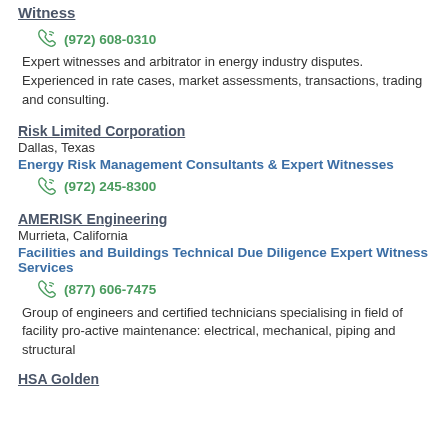Witness
(972) 608-0310
Expert witnesses and arbitrator in energy industry disputes. Experienced in rate cases, market assessments, transactions, trading and consulting.
Risk Limited Corporation
Dallas, Texas
Energy Risk Management Consultants & Expert Witnesses
(972) 245-8300
AMERISK Engineering
Murrieta, California
Facilities and Buildings Technical Due Diligence Expert Witness Services
(877) 606-7475
Group of engineers and certified technicians specialising in field of facility pro-active maintenance: electrical, mechanical, piping and structural
HSA Golden